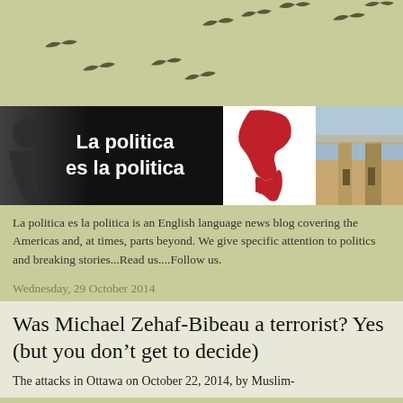[Figure (illustration): Green background with bird silhouettes flying across the top portion of the page]
[Figure (illustration): Header banner with three panels: left black panel with person silhouette and white bold text 'La politica es la politica', center white panel with red map of the Americas, right panel showing a cathedral building]
La politica es la politica is an English language news blog covering the Americas and, at times, parts beyond. We give specific attention to politics and breaking stories...Read us....Follow us.
Wednesday, 29 October 2014
Was Michael Zehaf-Bibeau a terrorist? Yes (but you don't get to decide)
The attacks in Ottawa on October 22, 2014, by Muslim-